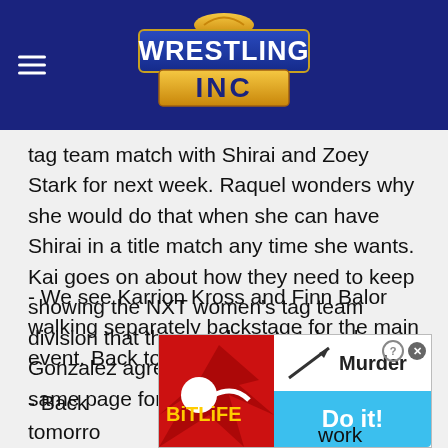Wrestling INC
tag team match with Shirai and Zoey Stark for next week. Raquel wonders why she would do that when she can have Shirai in a title match any time she wants. Kai goes on about how they need to keep showing the NXT women's tag team division that they are here to take charge. Gonzalez agrees and they are on the same page for next week.
- We see Karrion Kross and Finn Balor walking separately backstage for the main event. Back to commercial.
- Back
[Figure (screenshot): BitLife advertisement banner showing Murder Do it! with red background on left and blue button on right]
tomorro... ...work